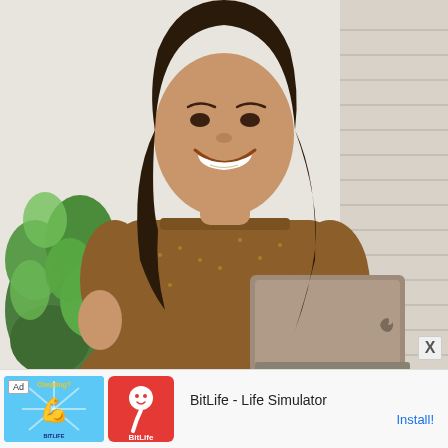[Figure (photo): A smiling young woman with long dark wavy hair wearing a brown floral patterned off-shoulder dress, holding an open Apple MacBook laptop. She stands in front of a window with white blinds and a green houseplant. The background is light and airy.]
X
[Figure (screenshot): Advertisement bar at the bottom: Ad label, left icon showing a cartoon flexing arm with 'Cheating?' text on blue background labeled BitLife, right icon showing BitLife app logo (sperm character on red background), then text 'BitLife - Life Simulator' and blue 'Install!' link.]